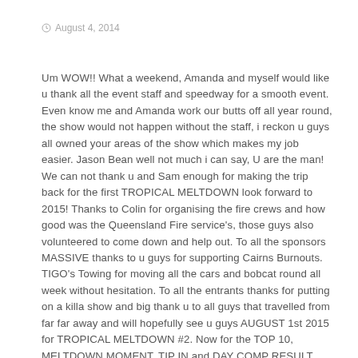August 4, 2014
Um WOW!! What a weekend, Amanda and myself would like u thank all the event staff and speedway for a smooth event. Even know me and Amanda work our butts off all year round, the show would not happen without the staff, i reckon u guys all owned your areas of the show which makes my job easier. Jason Bean well not much i can say, U are the man! We can not thank u and Sam enough for making the trip back for the first TROPICAL MELTDOWN look forward to 2015! Thanks to Colin for organising the fire crews and how good was the Queensland Fire service's, those guys also volunteered to come down and help out. To all the sponsors MASSIVE thanks to u guys for supporting Cairns Burnouts. TIGO's Towing for moving all the cars and bobcat round all week without hesitation. To all the entrants thanks for putting on a killa show and big thank u to all guys that travelled from far far away and will hopefully see u guys AUGUST 1st 2015 for TROPICAL MELTDOWN #2. Now for the TOP 10, MELTDOWN MOMENT, TIP IN and DAY COMP RESULT